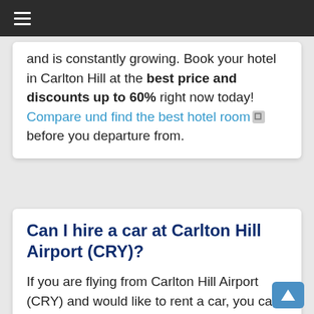≡ (hamburger menu)
and is constantly growing. Book your hotel in Carlton Hill at the best price and discounts up to 60% right now today! Compare und find the best hotel room before you departure from.
Can I hire a car at Carlton Hill Airport (CRY)?
If you are flying from Carlton Hill Airport (CRY) and would like to rent a car, you can do that in advance online or at the airport upon